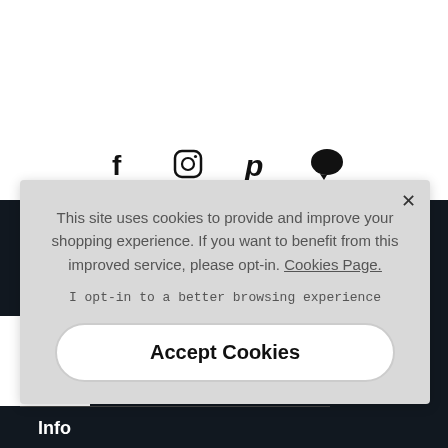[Figure (infographic): Four social media icons in a row: Facebook (f), Instagram (camera square), Pinterest (p), and speech bubble/chat icon, displayed in black on white background]
Newsletter Signup
Email address
To see how
TOP
Orders
Info
This site uses cookies to provide and improve your shopping experience. If you want to benefit from this improved service, please opt-in. Cookies Page.
I opt-in to a better browsing experience
Accept Cookies